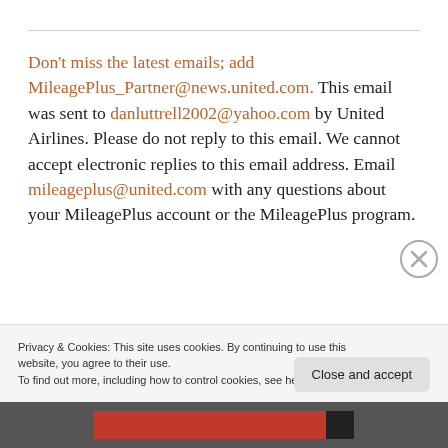Don't miss the latest emails; add MileagePlus_Partner@news.united.com. This email was sent to danluttrell2002@yahoo.com by United Airlines. Please do not reply to this email. We cannot accept electronic replies to this email address. Email mileageplus@united.com with any questions about your MileagePlus account or the MileagePlus program.
Privacy & Cookies: This site uses cookies. By continuing to use this website, you agree to their use.
To find out more, including how to control cookies, see here: Cookie Policy
Close and accept